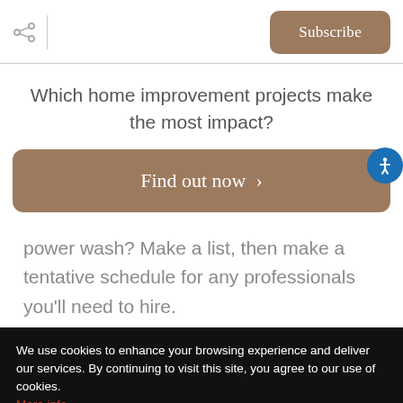Subscribe
Which home improvement projects make the most impact?
Find out now ›
power wash? Make a list, then make a tentative schedule for any professionals you'll need to hire.
We use cookies to enhance your browsing experience and deliver our services. By continuing to visit this site, you agree to our use of cookies. More info
OK